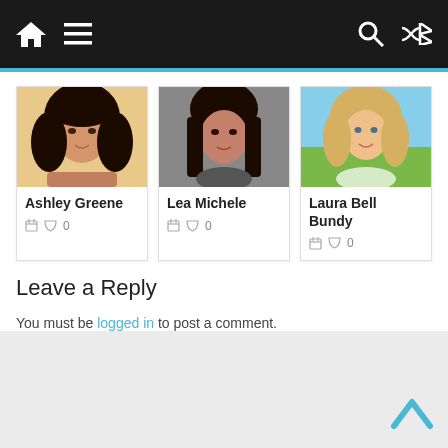Navigation bar with home, menu, search, and shuffle icons
[Figure (photo): Photo of Ashley Greene, a woman with dark hair]
Ashley Greene
🗓 💬 0
[Figure (photo): Photo of Lea Michele, a woman with dark hair on gray background]
Lea Michele
🗓 💬 0
[Figure (photo): Photo of Laura Bell Bundy, a blonde woman in a field]
Laura Bell Bundy
🗓 💬 0
Leave a Reply
You must be logged in to post a comment.